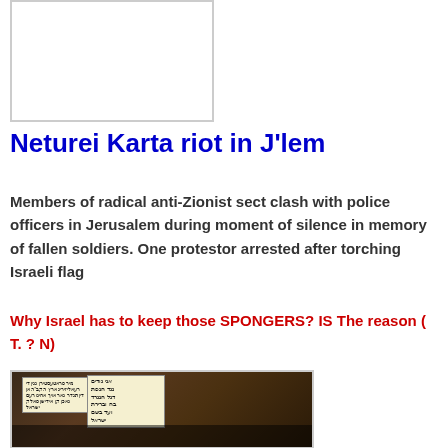[Figure (photo): Placeholder image box at top left]
Neturei Karta riot in J'lem
Members of radical anti-Zionist sect clash with police officers in Jerusalem during moment of silence in memory of fallen soldiers. One protestor arrested after torching Israeli flag
Why Israel has to keep those SPONGERS? IS The reason ( T. ? N)
[Figure (photo): Photograph of Neturei Karta protesters at night holding signs with Hebrew text including Israeli flag protest signs, crowd of men in black hats visible]